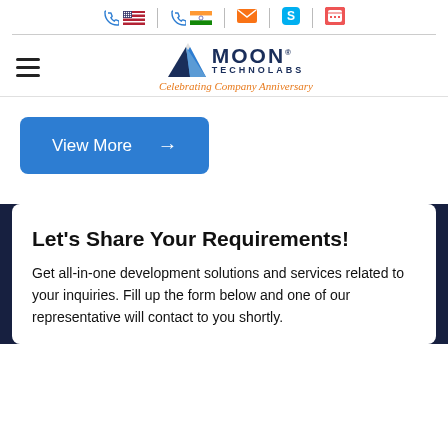Moon Technolabs - contact icons, navigation bar with hamburger menu and logo
[Figure (logo): Moon Technolabs logo with blue geometric icon, bold text MOON TECHNOLABS and italic orange tagline 'Celebrating Company Anniversary']
View More →
Let's Share Your Requirements!
Get all-in-one development solutions and services related to your inquiries. Fill up the form below and one of our representative will contact to you shortly.